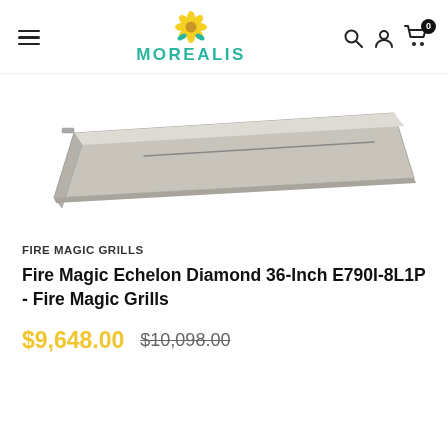MOREALIS
[Figure (photo): A stainless steel Fire Magic Echelon Diamond 36-Inch grill hood/lid shown at an angle against a white background]
FIRE MAGIC GRILLS
Fire Magic Echelon Diamond 36-Inch E790I-8L1P - Fire Magic Grills
$9,648.00  $10,098.00